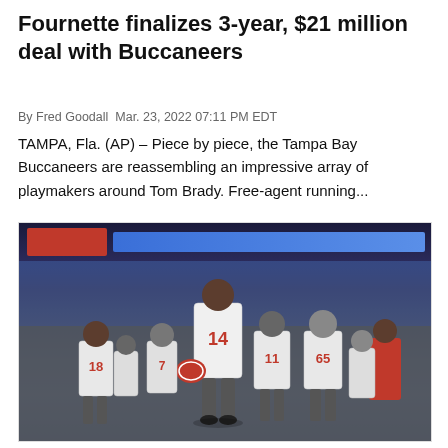Fournette finalizes 3-year, $21 million deal with Buccaneers
By Fred Goodall Mar. 23, 2022 07:11 PM EDT
TAMPA, Fla. (AP) – Piece by piece, the Tampa Bay Buccaneers are reassembling an impressive array of playmakers around Tom Brady. Free-agent running...
[Figure (photo): Tampa Bay Buccaneers players walking on the field, with player #14 in foreground carrying a helmet, surrounded by teammates including #11, #65, #18, and others in white uniforms. Stadium crowd visible in background.]